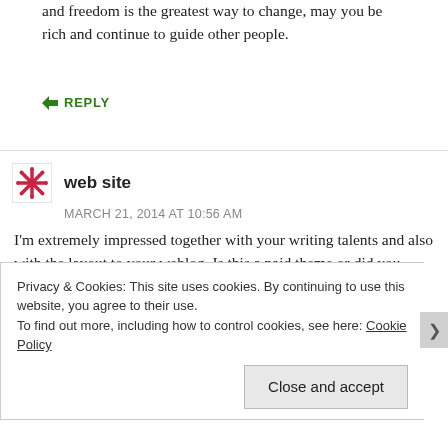and freedom is the greatest way to change, may you be rich and continue to guide other people.
↪ REPLY
web site
MARCH 21, 2014 AT 10:56 AM
I'm extremely impressed together with your writing talents and also with the layout to your weblog. Is this a paid theme or did you modify it your self? Either way stay up the excellent high quality writing, it is uncommon to
Privacy & Cookies: This site uses cookies. By continuing to use this website, you agree to their use.
To find out more, including how to control cookies, see here: Cookie Policy
Close and accept